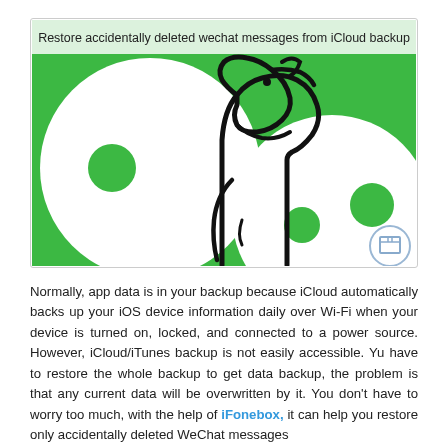[Figure (illustration): A WeChat promotional/tutorial image with a bright green background. On the left and right, two large overlapping white circles reminiscent of the WeChat logo, each with two small green dots. In the center, a black line-art illustration of a meerkat (animal) in profile facing right. Text at the top reads: 'Restore accidentally deleted wechat messages from iCloud backup'. A small blue circular icon with a box graphic appears in the bottom-right corner.]
Normally, app data is in your backup because iCloud automatically backs up your iOS device information daily over Wi-Fi when your device is turned on, locked, and connected to a power source. However, iCloud/iTunes backup is not easily accessible. Yu have to restore the whole backup to get data backup, the problem is that any current data will be overwritten by it. You don't have to worry too much, with the help of iFonebox, it can help you restore only accidentally deleted WeChat messages